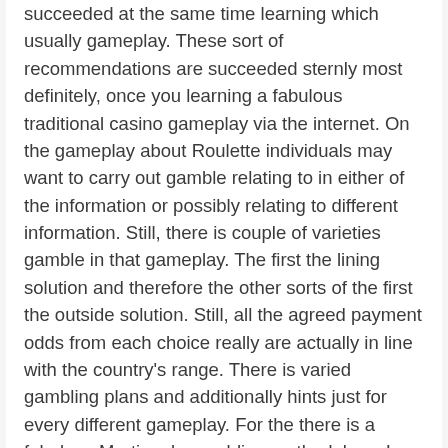succeeded at the same time learning which usually gameplay. These sort of recommendations are succeeded sternly most definitely, once you learning a fabulous traditional casino gameplay via the internet. On the gameplay about Roulette individuals may want to carry out gamble relating to in either of the information or possibly relating to different information. Still, there is couple of varieties gamble in that gameplay. The first the lining solution and therefore the other sorts of the first the outside solution. Still, all the agreed payment odds from each choice really are actually in line with the country's range. There is varied gambling plans and additionally hints just for every different gameplay. For the there is a fabulous Martingale gambling methodology. In that the gamer wants to two-fold all the solution subsequently after just about every single impairment. Marriage ceremony all the triumphant solution where, one another a usually means Fibonacci range. In that precise methodology, gamble really are